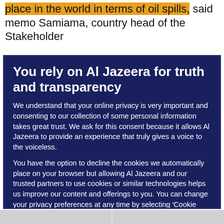place in the world in terms of oil spills," said memo Samiama, country head of the Stakeholder
You rely on Al Jazeera for truth and transparency
We understand that your online privacy is very important and consenting to our collection of some personal information takes great trust. We ask for this consent because it allows Al Jazeera to provide an experience that truly gives a voice to the voiceless.
You have the option to decline the cookies we automatically place on your browser but allowing Al Jazeera and our trusted partners to use cookies or similar technologies helps us improve our content and offerings to you. You can change your privacy preferences at any time by selecting 'Cookie preferences' at the bottom of your screen. To learn more, please view our Cookie Policy.